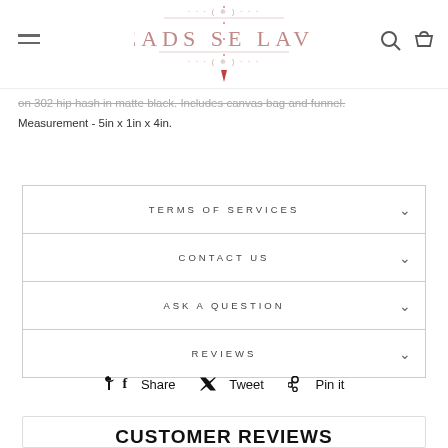Beads Se Lavie
on 302 hip hash in matte black. Includes canvas bag and funnel. Measurement - 5in x 1in x 4in.
TERMS OF SERVICES
CONTACT US
ASK A QUESTION
REVIEWS
Share   Tweet   Pin it
CUSTOMER REVIEWS